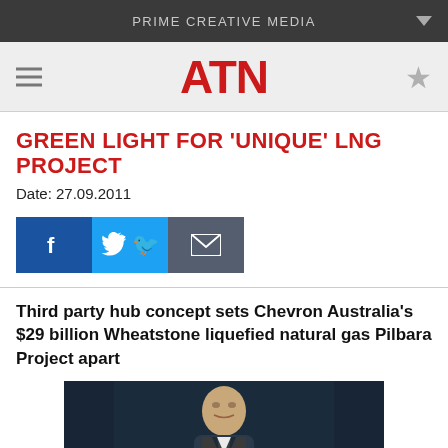PRIME CREATIVE MEDIA
GREEN LIGHT FOR 'UNIQUE' LNG PROJECT
Date: 27.09.2011
[Figure (other): Social share buttons: Facebook, Twitter, Email]
Third party hub concept sets Chevron Australia's $29 billion Wheatstone liquefied natural gas Pilbara Project apart
[Figure (photo): Photo of a man in a suit speaking, dark background]